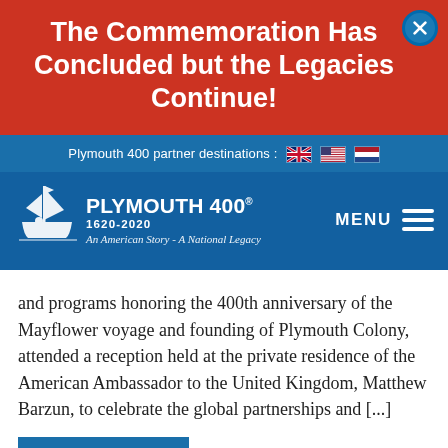The Commemoration Has Concluded but the Legacies Continue!
Plymouth 400 partner destinations :
[Figure (logo): Plymouth 400 logo with ship, text PLYMOUTH 400, 1620-2020, An American Story - A National Legacy]
and programs honoring the 400th anniversary of the Mayflower voyage and founding of Plymouth Colony, attended a reception held at the private residence of the American Ambassador to the United Kingdom, Matthew Barzun, to celebrate the global partnerships and [...]
READ MORE